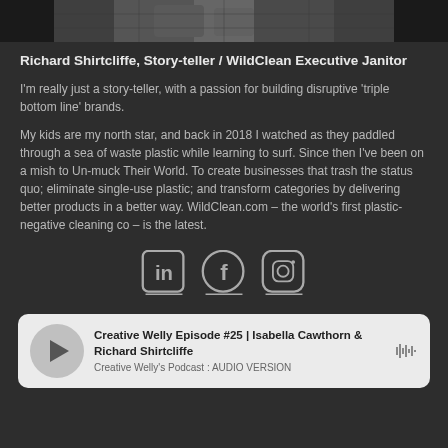[Figure (photo): Top portion of a black and white photo of Richard Shirtcliffe]
Richard Shirtcliffe, Story-teller / WildClean Executive Janitor
I'm really just a story-teller, with a passion for building disruptive 'triple bottom line' brands.
My kids are my north star, and back in 2018 I watched as they paddled through a sea of waste plastic while learning to surf. Since then I've been on a mish to Un-muck Their World. To create businesses that trash the status quo; eliminate single-use plastic; and transform categories by delivering better products in a better way. WildClean.com – the world's first plastic-negative cleaning co – is the latest.
[Figure (illustration): Row of three social media icons: LinkedIn, Facebook, Instagram]
Creative Welly Episode #25 | Isabella Cawthorn & Richard Shirtcliffe
Creative Welly's Podcast : AUDIO VERSION